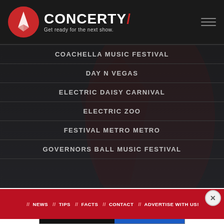[Figure (logo): Concerty logo with red circle icon and brand name 'CONCERTY' with tagline 'Get ready for the next show.']
COACHELLA MUSIC FESTIVAL
DAY N VEGAS
ELECTRIC DAISY CARNIVAL
ELECTRIC ZOO
FESTIVAL METRO METRO
GOVERNORS BALL MUSIC FESTIVAL
// NEWS // TIPS // FACTS // CONTACT // ADVERTISE WITH US!
[Figure (screenshot): Disney Bundle advertisement banner showing Hulu, Disney+, ESPN+ logos with 'GET THE DISNEY BUNDLE' call to action]